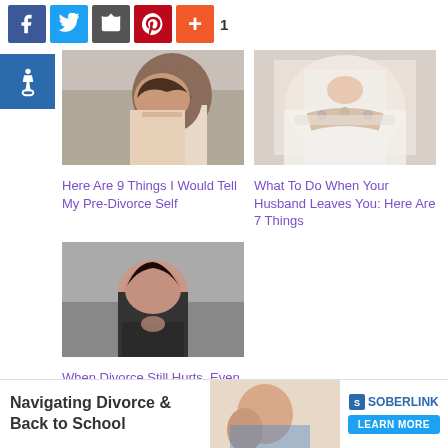[Figure (other): Social media sharing bar with Facebook, Twitter, Email, Pinterest, Google Plus icons and count of 1]
[Figure (other): Accessibility icon (wheelchair) in blue square]
[Figure (photo): Woman with hand on forehead looking stressed, article thumbnail]
Here Are 9 Things I Would Tell My Pre-Divorce Self
[Figure (photo): Woman touching pearl necklace on chest, article thumbnail]
What To Do When Your Husband Leaves You: Here Are 7 Things
[Figure (photo): Dark-haired woman in black jacket resting chin on hands, article thumbnail]
When Divorce Still Hurts, Even Years Later
[Figure (photo): Partially visible article thumbnail at bottom left]
[Figure (photo): Partially visible article thumbnail at bottom right]
[Figure (other): Soberlink advertisement banner: Navigating Divorce & Back to School, Learn More button]